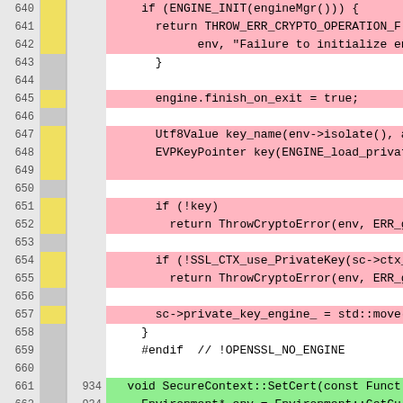[Figure (screenshot): Code diff view showing C++ source code lines 640-666 with line numbers, git diff gutter indicators, and new line numbers. Lines are highlighted in pink (deleted/modified) or green (added), with some lines on white background. The code shows SecureContext crypto engine initialization logic in Node.js C++ source.]